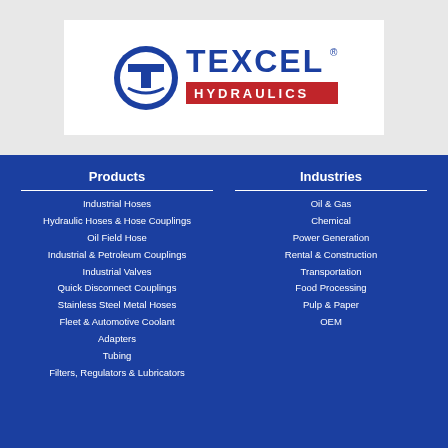[Figure (logo): Texcel Hydraulics logo — bold dark blue text TEXCEL above a red banner with white text HYDRAULICS, with a circular T shield icon to the left]
Products
Industrial Hoses
Hydraulic Hoses & Hose Couplings
Oil Field Hose
Industrial & Petroleum Couplings
Industrial Valves
Quick Disconnect Couplings
Stainless Steel Metal Hoses
Fleet & Automotive Coolant
Adapters
Tubing
Filters, Regulators & Lubricators
Industries
Oil & Gas
Chemical
Power Generation
Rental & Construction
Transportation
Food Processing
Pulp & Paper
OEM